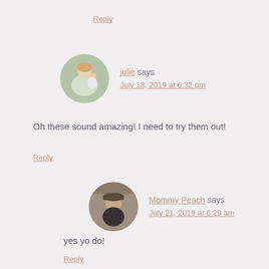Reply
julie says
July 18, 2019 at 6:32 pm
[Figure (photo): Circular avatar photo of julie - woman with child outdoors in green setting]
Oh these sound amazing! I need to try them out!
Reply
[Figure (photo): Circular avatar photo of Mommy Peach - person wearing hat]
Mommy Peach says
July 21, 2019 at 6:29 am
yes yo do!
Reply